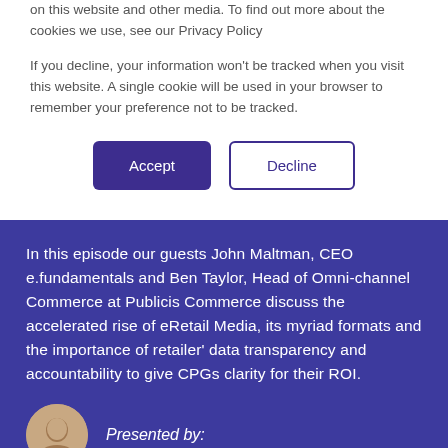on this website and other media. To find out more about the cookies we use, see our Privacy Policy
If you decline, your information won't be tracked when you visit this website. A single cookie will be used in your browser to remember your preference not to be tracked.
Accept | Decline
In this episode our guests John Maltman, CEO e.fundamentals and Ben Taylor, Head of Omni-channel Commerce at Publicis Commerce discuss the accelerated rise of eRetail Media, its myriad formats and the importance of retailer' data transparency and accountability to give CPGs clarity for their ROI.
Presented by: